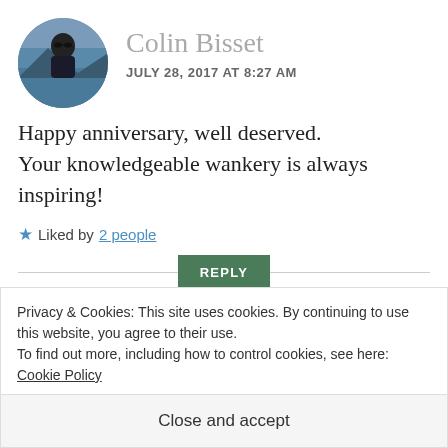[Figure (photo): Circular avatar photo of Colin Bisset, a man in a dark jacket outdoors with water and mountains in background]
Colin Bisset
JULY 28, 2017 AT 8:27 AM
Happy anniversary, well deserved. Your knowledgeable wankery is always inspiring!
★ Liked by 2 people
REPLY
[Figure (photo): Circular avatar photo of Conrad (The Wine ...), a man wearing a dark cap]
Conrad (The Wine
Privacy & Cookies: This site uses cookies. By continuing to use this website, you agree to their use.
To find out more, including how to control cookies, see here: Cookie Policy
Close and accept